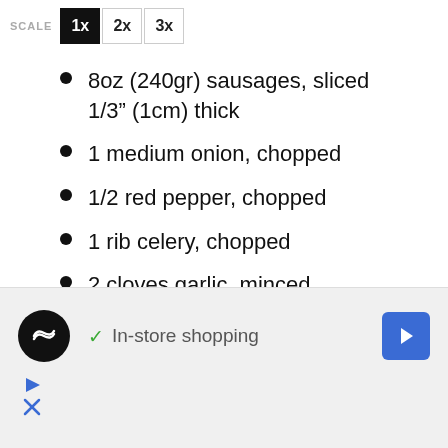SCALE 1x 2x 3x
8oz (240gr) sausages, sliced 1/3" (1cm) thick
1 medium onion, chopped
1/2 red pepper, chopped
1 rib celery, chopped
2 cloves garlic, minced
8oz (240gr) frozen, chopped spinach, thawed, squeezed dry
1 tsp dried oregano
1/2 cup shredded cheese, (2oz,
[Figure (other): Advertisement banner: Instacart logo (black circle with infinity symbol), checkmark icon with 'In-store shopping' text, blue diamond arrow icon, play and X icons at bottom left]